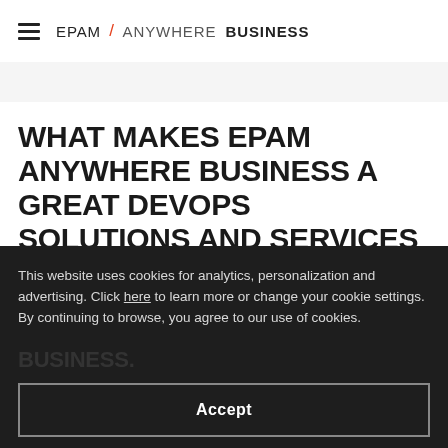EPAM / ANYWHERE BUSINESS
WHAT MAKES EPAM ANYWHERE BUSINESS A GREAT DEVOPS SOLUTIONS AND SERVICES PROVIDER AGENCY FOR ANY BUSINESS?
This website uses cookies for analytics, personalization and advertising. Click here to learn more or change your cookie settings. By continuing to browse, you agree to our use of cookies.
Accept